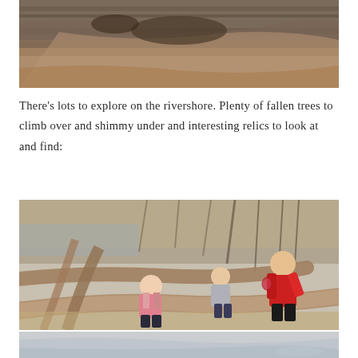[Figure (photo): Outdoor nature photo showing rocky rivershore with layered rock formations and fallen leaves on the ground]
There's lots to explore on the rivershore. Plenty of fallen trees to climb over and shimmy under and interesting relics to look at and find:
[Figure (photo): Photo of two children and an adult (in red jacket) climbing over large fallen tree logs on a rivershore, with bare winter trees in the background]
[Figure (photo): Bottom portion of rivershore photo, showing icy or water-covered ground near the shore]